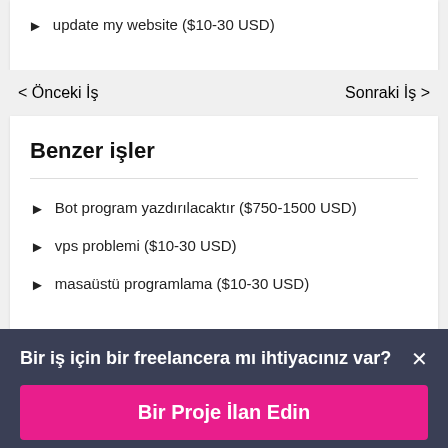update my website ($10-30 USD)
< Önceki İş   Sonraki İş >
Benzer işler
Bot program yazdırılacaktır ($750-1500 USD)
vps problemi ($10-30 USD)
masaüstü programlama ($10-30 USD)
Bir iş için bir freelancera mı ihtiyacınız var? ×
Bir Proje İlan Edin